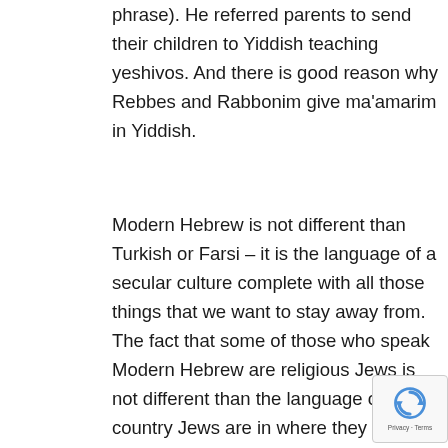phrase). He referred parents to send their children to Yiddish teaching yeshivos. And there is good reason why Rebbes and Rabbonim give ma'amarim in Yiddish.
Modern Hebrew is not different than Turkish or Farsi – it is the language of a secular culture complete with all those things that we want to stay away from. The fact that some of those who speak Modern Hebrew are religious Jews is not different than the language of any country Jews are in where they speak the language of the land. The point is to stay away from the language of the land and only talk the language of the Jew.
The Radak (Sefer HaMichlol, introduction) writes that Loshon HaKodesh is all but forgotten to us, and all we have left is what is in Tanach.
The Chasam Sofer notes that while Chazal used many